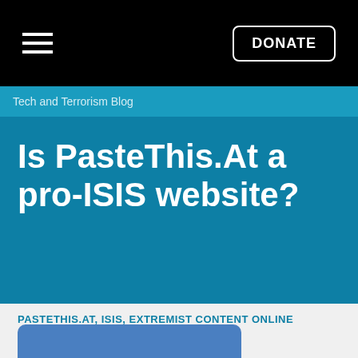DONATE
Tech and Terrorism Blog
Is PasteThis.At a pro-ISIS website?
PASTETHIS.AT, ISIS, EXTREMIST CONTENT ONLINE
August 21, 2018
Joshua Fisher-Birch
Tweet Now